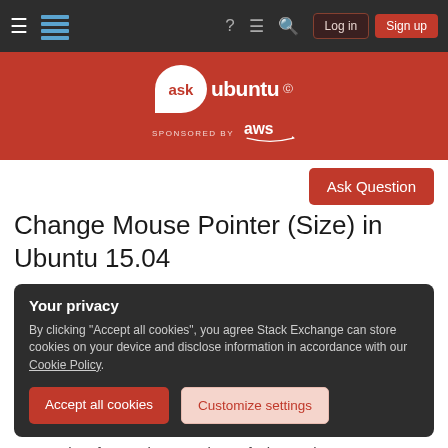≡  [stack exchange logo]  ?  ≡  🔍  Log in  Sign up
[Figure (logo): Ask Ubuntu logo with AWS sponsorship on orange background]
Ask Question
Change Mouse Pointer (Size) in Ubuntu 15.04
Your privacy
By clicking "Accept all cookies", you agree Stack Exchange can store cookies on your device and disclose information in accordance with our Cookie Policy.
Accept all cookies  Customize settings
approaches for previous versions of Ubuntu don't